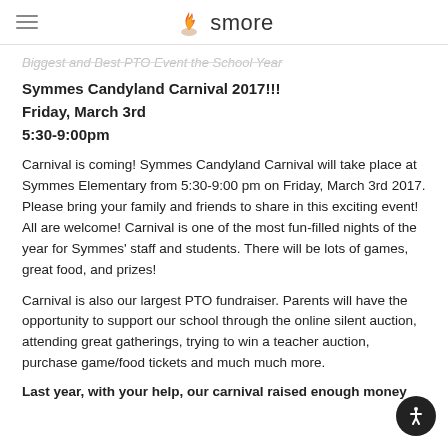smore
Biggest and Best PTO Event the School Year
Symmes Candyland Carnival 2017!!!
Friday, March 3rd
5:30-9:00pm
Carnival is coming! Symmes Candyland Carnival will take place at Symmes Elementary from 5:30-9:00 pm on Friday, March 3rd 2017. Please bring your family and friends to share in this exciting event! All are welcome! Carnival is one of the most fun-filled nights of the year for Symmes' staff and students. There will be lots of games, great food, and prizes!
Carnival is also our largest PTO fundraiser. Parents will have the opportunity to support our school through the online silent auction, attending great gatherings, trying to win a teacher auction, purchase game/food tickets and much much more.
Last year, with your help, our carnival raised enough money